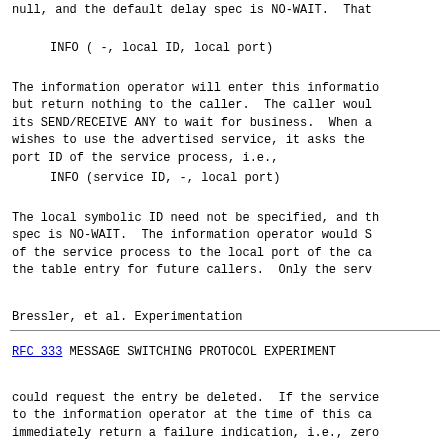null, and the default delay spec is NO-WAIT.  That
The information operator will enter this informatio
but return nothing to the caller.  The caller woul
its SEND/RECEIVE ANY to wait for business.  When a
wishes to use the advertised service, it asks the 
port ID of the service process, i.e.,
The local symbolic ID need not be specified, and th
spec is NO-WAIT.  The information operator would S
of the service process to the local port of the ca
the table entry for future callers.  Only the serv
Bressler, et al.          Experimentation
RFC 333          MESSAGE SWITCHING PROTOCOL EXPERIMENT
could request the entry be deleted.  If the service
to the information operator at the time of this ca
immediately return a failure indication, i.e., zero